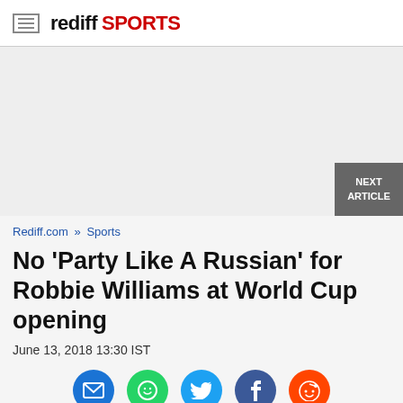rediff SPORTS
[Figure (other): Advertisement placeholder area with grey background]
Rediff.com » Sports
No 'Party Like A Russian' for Robbie Williams at World Cup opening
June 13, 2018 13:30 IST
[Figure (other): Social sharing icons: email (blue), WhatsApp (green), Twitter (blue), Facebook (dark blue), Reddit (orange-red)]